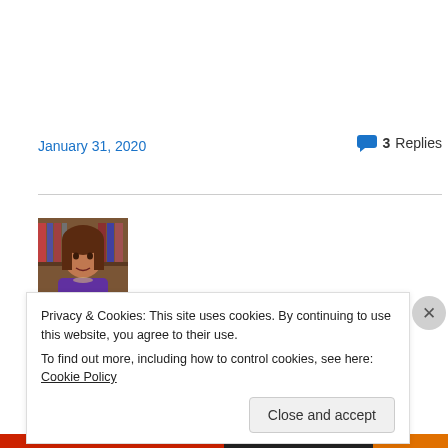January 31, 2020
3 Replies
[Figure (photo): Author photo: woman with brown hair wearing a purple top, bookshelves in background]
Privacy & Cookies: This site uses cookies. By continuing to use this website, you agree to their use.
To find out more, including how to control cookies, see here: Cookie Policy
Close and accept